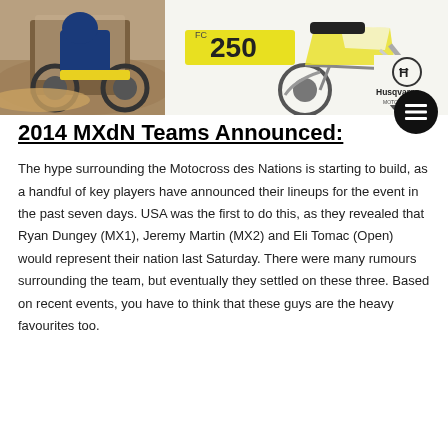[Figure (photo): Composite image showing a motocross rider racing on a dirt track on the left, and a Husqvarna FC 250 motocross bike displayed on white background on the right, with Husqvarna logo visible.]
2014 MXdN Teams Announced:
The hype surrounding the Motocross des Nations is starting to build, as a handful of key players have announced their lineups for the event in the past seven days. USA was the first to do this, as they revealed that Ryan Dungey (MX1), Jeremy Martin (MX2) and Eli Tomac (Open) would represent their nation last Saturday. There were many rumours surrounding the team, but eventually they settled on these three. Based on recent events, you have to think that these guys are the heavy favourites too.